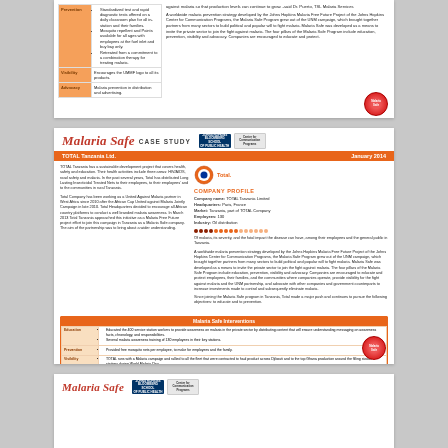[Figure (other): Partial view of top Malaria Safe case study card showing table of interventions and descriptive text]
Malaria Safe CASE STUDY
TOTAL Tanzania Ltd.    January 2014
TOTAL Tanzania has a sustainable development project that covers health, safety and education. Their health activities include three areas: HIV/AIDS, road safety and malaria. In the past several years, Total has distributed Long Lasting Insecticidal Treated Nets to their employees, to their employees' and to the communities in rural Tanzania.
COMPANY PROFILE
| Field | Value |
| --- | --- |
| Company name: | TOTAL Tanzania Limited |
| Headquarters: | Paris, France |
| Market: | Tanzania, part of TOTAL Company |
| Employees: | 130 |
| Industry: | Oil distribution |
Of malaria, its severity, and the fatal impact the disease can have, among their employees and the general public in Tanzania.
Malaria Safe Interventions
| Category | Intervention |
| --- | --- |
| Education | Educated the 400 service station workers on malaria prevention strategies, focusing on the private sector by distributing content that will ensure understanding messaging on awareness facts, chronology, and responsibilities. |
| Prevention | Provided free mosquito nets per employee, to make for employees and the family. |
| Visibility | TOTAL runs with a Malaria campaign and rallied to all the fleet that were contracted to haul product across Djibouti and to the top Ghana production around the filling station stations during World Malaria Day. |
| Advocacy | Malaria social factors in distributing and sharing their malaria activities to the company spanning levels of distribution and health. |
[Figure (logo): Malaria Safe circular red logo at bottom right]
Malaria Safe
[Figure (logo): Johns Hopkins and Center for Communication Programs logos]